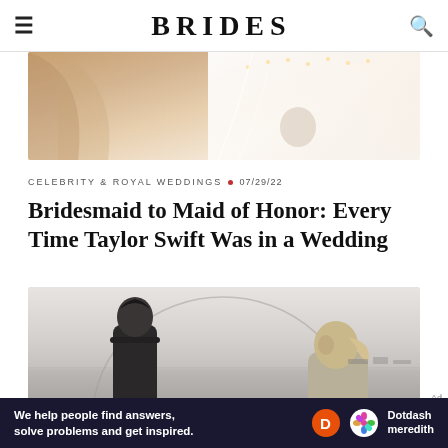BRIDES
[Figure (photo): Partial view of a bride in a wedding dress with veil, warm tones, cropped at top]
CELEBRITY & ROYAL WEDDINGS • 07/29/22
Bridesmaid to Maid of Honor: Every Time Taylor Swift Was in a Wedding
[Figure (photo): Black and white photo of two people on a beach, one with dark hair (back view) and one with light hair (side view), with a circular arc overlay]
Ad
We help people find answers, solve problems and get inspired. Dotdash meredith